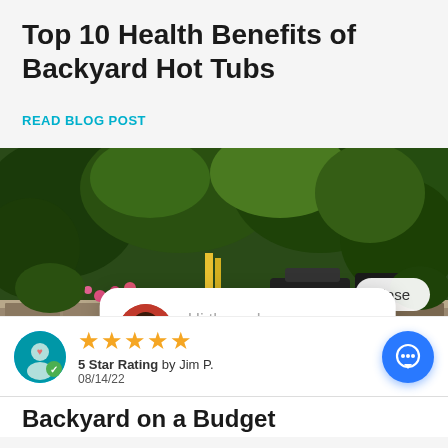Top 10 Health Benefits of Backyard Hot Tubs
READ BLOG POST
[Figure (photo): Backyard garden photo with patio seating, stone retaining wall, colorful flowers, and lush green foliage. A chat popup overlay shows an avatar of a woman with text 'Hi there, have a question? Text us here.' and a close button. A review bar shows 5 yellow stars, '5 Star Rating by Jim P. 08/14/22' and a round blue chat FAB button.]
Backyard on a Budget